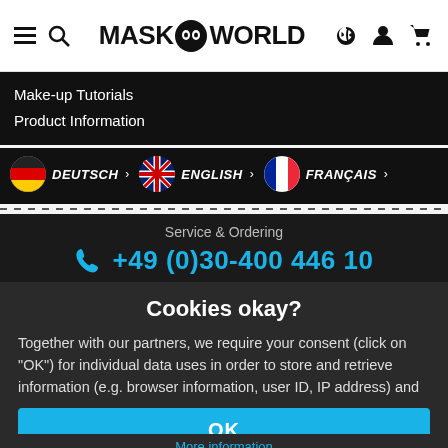MASK WORLD
Make-up Tutorials
Product Information
DEUTSCH › ENGLISH › FRANÇAIS ›
Service & Ordering
+49 (0)30-400 446 10
Payment method
Cookies okay?
Together with our partners, we require your consent (click on "OK") for individual data uses in order to store and retrieve information (e.g. browser information, user ID, IP address) and to process it or have it processed. The data usage is for personalised functionalities, content and ads
OK
More information